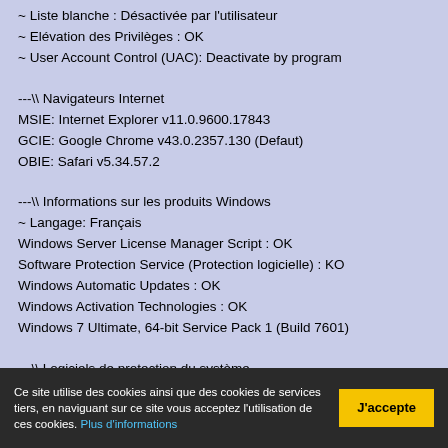~ Liste blanche : Désactivée par l'utilisateur
~ Elévation des Privilèges : OK
~ User Account Control (UAC): Deactivate by program
---\\ Navigateurs Internet
MSIE: Internet Explorer v11.0.9600.17843
GCIE: Google Chrome v43.0.2357.130 (Defaut)
OBIE: Safari v5.34.57.2
---\\ Informations sur les produits Windows
~ Langage: Français
Windows Server License Manager Script : OK
Software Protection Service (Protection logicielle) : KO
Windows Automatic Updates : OK
Windows Activation Technologies : OK
Windows 7 Ultimate, 64-bit Service Pack 1 (Build 7601)
---\\ Logiciels de protection du système
Bitdefender Internet Security 2015 v18.22.0.1521
Ce site utilise des cookies ainsi que des cookies de services tiers, en naviguant sur ce site vous acceptez l'utilisation de ces cookies. Plus d'informations
J'accepte